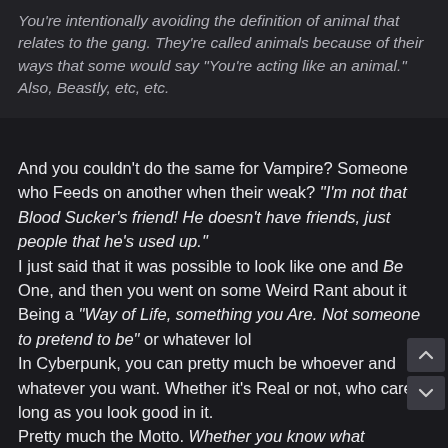You're intentionally avoiding the definition of animal that relates to the gang. They're called animals because of their ways that some would say "You're acting like an animal." Also, Beastly, etc, etc.
And you couldn't do the same for Vampire? Someone who Feeds on another when their weak? "I'm not that Blood Sucker's friend! He doesn't have friends, just people that he's used up."
I just said that it was possible to look like one and Be One, and then you went on some Weird Rant about it Being a "Way of Life, something you Are. Not someone to pretend to be" or whatever lol
In Cyberpunk, you can pretty much be whoever and whatever you want. Whether it's Real or not, who cares. long as you look good in it.
Pretty much the Motto. Whether you know what